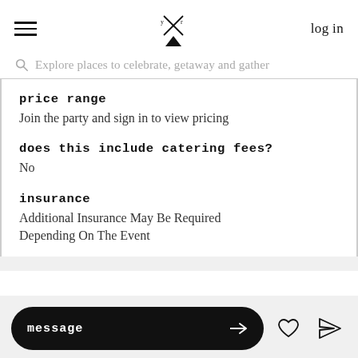log in
Explore places to celebrate, getaway and gather
price range
Join the party and sign in to view pricing
does this include catering fees?
No
insurance
Additional Insurance May Be Required Depending On The Event
message